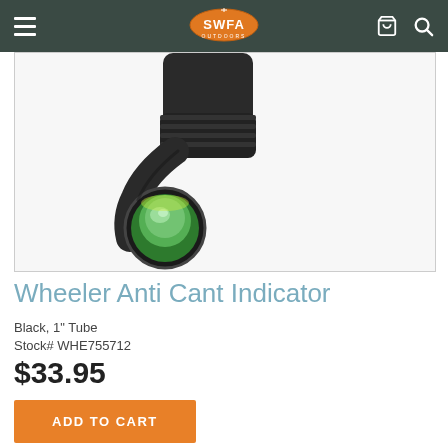SWFA Outdoors navigation bar
[Figure (photo): Close-up photo of Wheeler Anti Cant Indicator device — a black cylindrical scope-mounted level with a bright green bubble vial visible from the front, attached to a black rifle scope tube. The background is white/light gray.]
Wheeler Anti Cant Indicator
Black, 1" Tube
Stock# WHE755712
$33.95
ADD TO CART